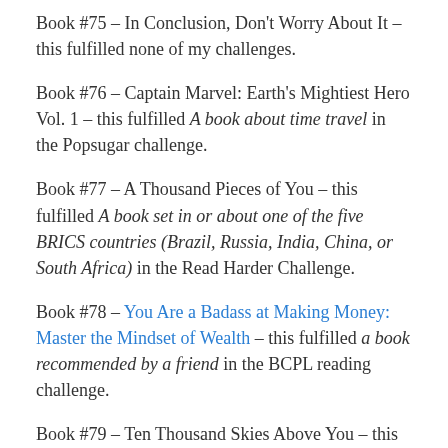Book #75 – In Conclusion, Don't Worry About It – this fulfilled none of my challenges.
Book #76 – Captain Marvel: Earth's Mightiest Hero Vol. 1 – this fulfilled A book about time travel in the Popsugar challenge.
Book #77 – A Thousand Pieces of You – this fulfilled A book set in or about one of the five BRICS countries (Brazil, Russia, India, China, or South Africa) in the Read Harder Challenge.
Book #78 – You Are a Badass at Making Money: Master the Mindset of Wealth – this fulfilled a book recommended by a friend in the BCPL reading challenge.
Book #79 – Ten Thousand Skies Above You – this fulfilled An adventure / espionage novel in the Mommy Mannegren